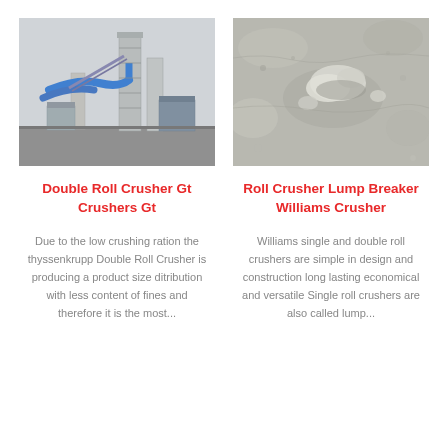[Figure (photo): Industrial plant with tall silos, blue pipes, and industrial buildings]
[Figure (photo): Close-up of grey powder/crushed material with some lumps]
Double Roll Crusher Gt Crushers Gt
Roll Crusher Lump Breaker Williams Crusher
Due to the low crushing ration the thyssenkrupp Double Roll Crusher is producing a product size ditribution with less content of fines and therefore it is the most...
Williams single and double roll crushers are simple in design and construction long lasting economical and versatile Single roll crushers are also called lump...